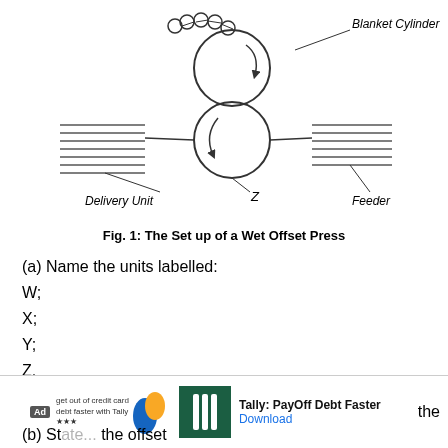[Figure (schematic): Diagram showing the set up of a Wet Offset Press with labeled components: Blanket Cylinder (top right), Delivery Unit (bottom left with horizontal lines), Feeder (bottom right with horizontal lines), and Z (center bottom circle). Unlabeled components W, X, Y are also shown.]
Fig. 1: The Set up of a Wet Offset Press
(a) Name the units labelled:
W;
X;
Y;
Z.
(b) St... the offset...